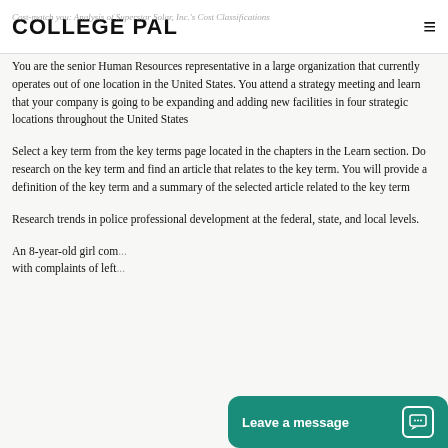COLLEGE PAL — Cost-match you: Analysis of Superstar Solar, Inc.'s Cost Classifications
You are the senior Human Resources representative in a large organization that currently operates out of one location in the United States. You attend a strategy meeting and learn that your company is going to be expanding and adding new facilities in four strategic locations throughout the United States
Select a key term from the key terms page located in the chapters in the Learn section. Do research on the key term and find an article that relates to the key term. You will provide a definition of the key term and a summary of the selected article related to the key term
Research trends in police professional development at the federal, state, and local levels.
An 8-year-old girl co... with complaints of left...